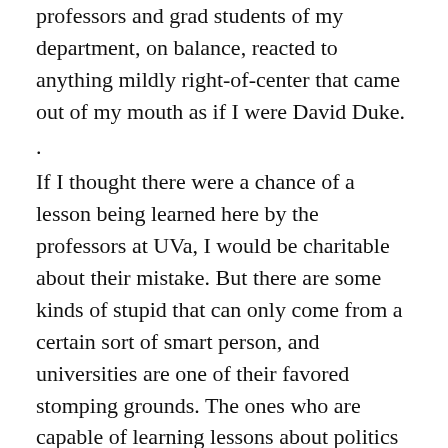professors and grad students of my department, on balance, reacted to anything mildly right-of-center that came out of my mouth as if I were David Duke.
.
If I thought there were a chance of a lesson being learned here by the professors at UVa, I would be charitable about their mistake. But there are some kinds of stupid that can only come from a certain sort of smart person, and universities are one of their favored stomping grounds. The ones who are capable of learning lessons about politics and consequences, by and large, already have. The rest will just natter on about how their insurance problems would be solved with a judicious application of social justice.
.
All of which is my long-winded way of saying